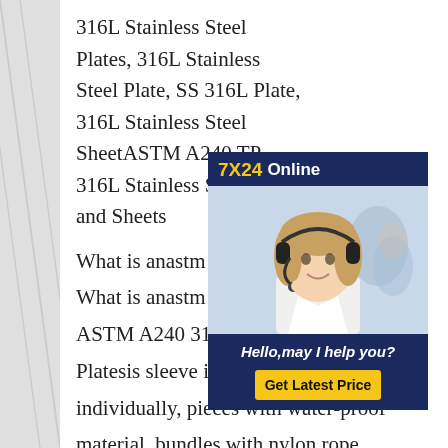316L Stainless Steel Plates, 316L Stainless Steel Plate, SS 316L Plate, 316L Stainless Steel SheetASTM A240 TP 316L Stainless Steel Plates and Sheets
[Figure (other): Online chat support widget showing '7X24 Online' header in navy/yellow, a photo of a young woman with a headset smiling, and a 'Hello, may I help you?' message with a 'Get Latest Price' yellow button]
What is anastm A240 TP 316L?What is anastm A240 TP 316L?ASTM A240 316L Stainless Steel Platesis sleeve in a plastic bag individually, pieces with water-proof material, bundles with nylon rope. Clear labels are tagged on the outside of the package for easy identification of the quantity and product I.D.ASTM A240 TP 316L Stainless Steel